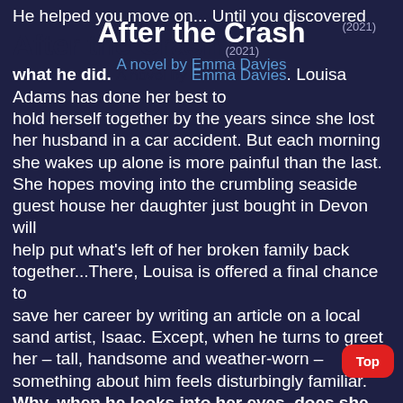After the Crash
(2021) A novel by Emma Davies
He helped you move on... Until you discovered what he did. Louisa Adams has done her best to hold herself together by the years since she lost her husband in a car accident. But each morning she wakes up alone is more painful than the last. She hopes moving into the crumbling seaside guest house her daughter just bought in Devon will help put what's left of her broken family back together...There, Louisa is offered a final chance to save her career by writing an article on a local sand artist, Isaac. Except, when he turns to greet her – tall, handsome and weather-worn – something about him feels disturbingly familiar. Why, when he looks into her eyes, does she feel like he knows exactly who she is and everything she's been through? As they explore the rugged coastline's hidden coves together – living and laughing like she never thought she would again... Louisa is fascinated by this man who creates